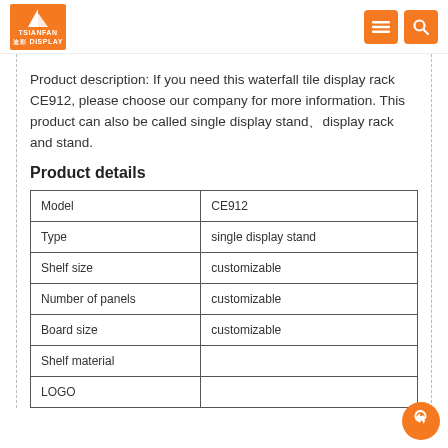TSIANFAN DISPLAY
Product description: If you need this waterfall tile display rack CE912, please choose our company for more information. This product can also be called single display stand、display rack and stand.
Product details
|  |  |
| --- | --- |
| Model | CE912 |
| Type | single display stand |
| Shelf size | customizable |
| Number of panels | customizable |
| Board size | customizable |
| Shelf material |  |
| LOGO |  |